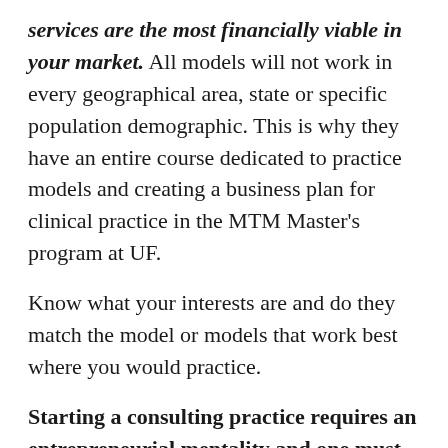services are the most financially viable in your market.  All models will not work in every geographical area, state or specific population demographic.  This is why they have an entire course dedicated to practice models and creating a business plan for clinical practice in the MTM Master's program at UF.
Know what your interests are and do they match the model or models that work best where you would practice.
Starting a consulting practice requires an entrepreneurial mentality and one must possess entrepreneurial characteristics to have the best chance of success.  Because it is difficult to sell and bill for pharmacist services in many current locations enough to cover the costs to perform them.  This is where provider status will help.  Be willing to over deliver on services.  If you are serious of a business income, direct to the professional...